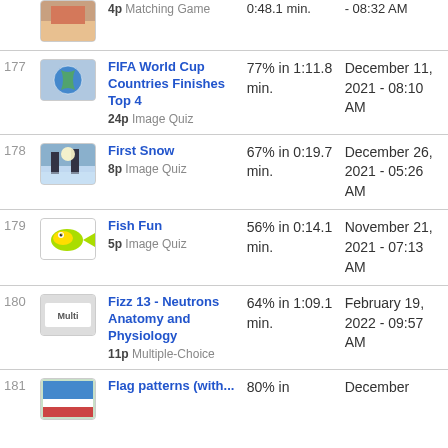| # | Quiz | Score | Date |
| --- | --- | --- | --- |
|  | 4p Matching Game | 0:48.1 min. | 08:32 AM |
| 177 | FIFA World Cup Countries Finishes Top 4 / 24p Image Quiz | 77% in 1:11.8 min. | December 11, 2021 - 08:10 AM |
| 178 | First Snow / 8p Image Quiz | 67% in 0:19.7 min. | December 26, 2021 - 05:26 AM |
| 179 | Fish Fun / 5p Image Quiz | 56% in 0:14.1 min. | November 21, 2021 - 07:13 AM |
| 180 | Fizz 13 - Neutrons Anatomy and Physiology / 11p Multiple-Choice | 64% in 1:09.1 min. | February 19, 2022 - 09:57 AM |
| 181 | Flag patterns (with... | 80% in | December |